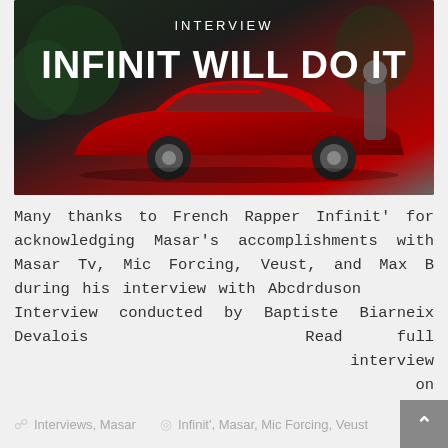[Figure (photo): Hero image showing a red sports car (Ferrari-style) with a man standing behind it, overlaid with interview title text 'INFINIT WILL DO IT' and a red underline, with 'INTERVIEW' label above.]
Many thanks to French Rapper Infinit' for acknowledging Masar's accomplishments with Masar Tv, Mic Forcing, Veust, and Max B during his interview with Abcdrduson      Interview conducted by Baptiste Biarneix Devalois   Read full                          interview                              on abcdrduson.com/interviews/infinit-va-faire/
Read More
Interviews, Masar    Infinit', Masar, Mic Forcing, Veust